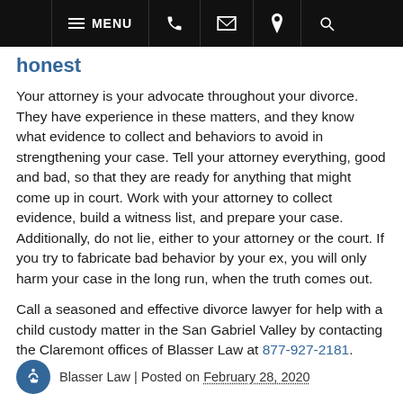MENU [phone] [email] [location] [search]
honest
Your attorney is your advocate throughout your divorce. They have experience in these matters, and they know what evidence to collect and behaviors to avoid in strengthening your case. Tell your attorney everything, good and bad, so that they are ready for anything that might come up in court. Work with your attorney to collect evidence, build a witness list, and prepare your case. Additionally, do not lie, either to your attorney or the court. If you try to fabricate bad behavior by your ex, you will only harm your case in the long run, when the truth comes out.
Call a seasoned and effective divorce lawyer for help with a child custody matter in the San Gabriel Valley by contacting the Claremont offices of Blasser Law at 877-927-2181.
Blasser Law | Posted on February 28, 2020